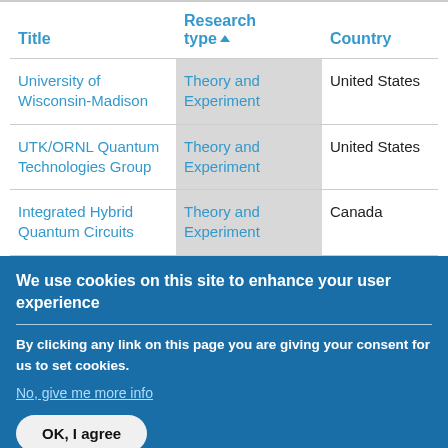| Title | Research type▲ | Country |
| --- | --- | --- |
| University of Wisconsin-Madison | Theory and Experiment | United States |
| UTK/ORNL Quantum Technologies Group | Theory and Experiment | United States |
| Integrated Hybrid Quantum Circuits | Theory and Experiment | Canada |
We use cookies on this site to enhance your user experience
By clicking any link on this page you are giving your consent for us to set cookies.
No, give me more info
OK, I agree